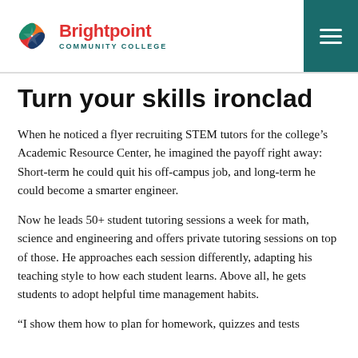Brightpoint Community College
Turn your skills ironclad
When he noticed a flyer recruiting STEM tutors for the college’s Academic Resource Center, he imagined the payoff right away: Short-term he could quit his off-campus job, and long-term he could become a smarter engineer.
Now he leads 50+ student tutoring sessions a week for math, science and engineering and offers private tutoring sessions on top of those. He approaches each session differently, adapting his teaching style to how each student learns. Above all, he gets students to adopt helpful time management habits.
“I show them how to plan for homework, quizzes and tests